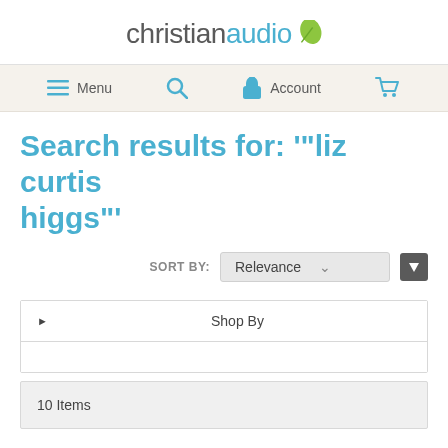[Figure (logo): christianaudio logo with green leaf icon]
Menu | Search | Account | Cart
Search results for: '"liz curtis higgs"'
SORT BY: Relevance
Shop By
10 Items